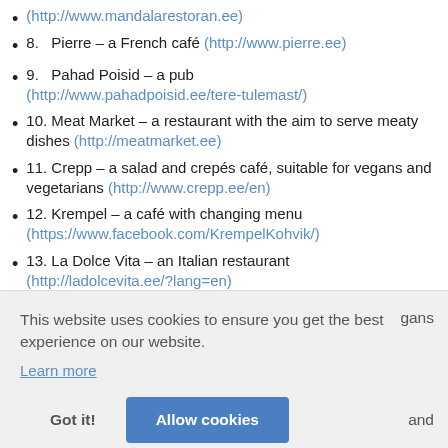(http://www.mandalarestoran.ee)
8.   Pierre – a French café (http://www.pierre.ee)
9.   Pahad Poisid – a pub (http://www.pahadpoisid.ee/tere-tulemast/)
10. Meat Market – a restaurant with the aim to serve meaty dishes (http://meatmarket.ee)
11. Crepp – a salad and crepés café, suitable for vegans and vegetarians (http://www.crepp.ee/en)
12. Krempel – a café with changing menu (https://www.facebook.com/KrempelKohvik/)
13. La Dolce Vita – an Italian restaurant (http://ladolcevita.ee/?lang=en)
This website uses cookies to ensure you get the best experience on our website.
Learn more
Got it!   Allow cookies